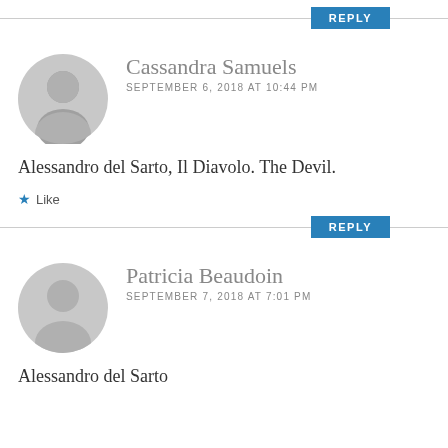[Figure (other): Reply button bar with horizontal rule]
[Figure (illustration): Gray default user avatar circle with silhouette for Cassandra Samuels]
Cassandra Samuels
SEPTEMBER 6, 2018 AT 10:44 PM
Alessandro del Sarto, Il Diavolo. The Devil.
Like
[Figure (other): Reply button bar with horizontal rule]
[Figure (illustration): Gray default user avatar circle with silhouette for Patricia Beaudoin]
Patricia Beaudoin
SEPTEMBER 7, 2018 AT 7:01 PM
Alessandro del Sarto